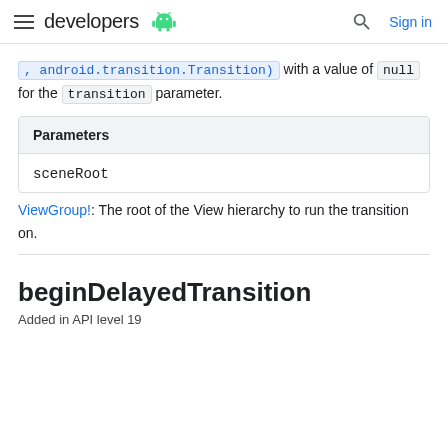developers [android logo] ... Sign in
, android.transition.Transition) with a value of null for the transition parameter.
| Parameters |
| --- |
| sceneRoot |
ViewGroup!: The root of the View hierarchy to run the transition on.
beginDelayedTransition
Added in API level 19